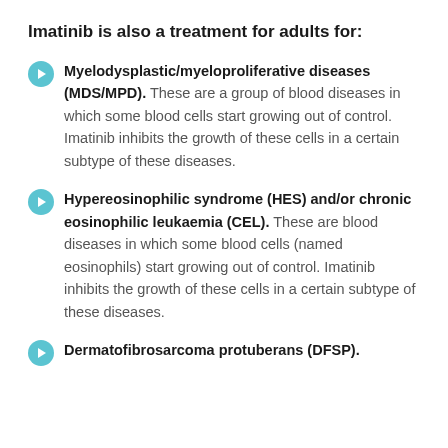Imatinib is also a treatment for adults for:
Myelodysplastic/myeloproliferative diseases (MDS/MPD). These are a group of blood diseases in which some blood cells start growing out of control. Imatinib inhibits the growth of these cells in a certain subtype of these diseases.
Hypereosinophilic syndrome (HES) and/or chronic eosinophilic leukaemia (CEL). These are blood diseases in which some blood cells (named eosinophils) start growing out of control. Imatinib inhibits the growth of these cells in a certain subtype of these diseases.
Dermatofibrosarcoma protuberans (DFSP).